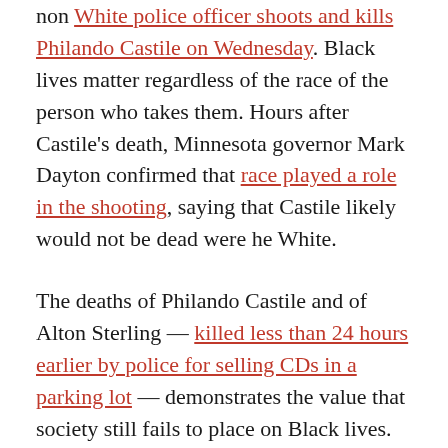non- White police officer shoots and kills Philando Castile on Wednesday. Black lives matter regardless of the race of the person who takes them. Hours after Castile's death, Minnesota governor Mark Dayton confirmed that race played a role in the shooting, saying that Castile likely would not be dead were he White.
The deaths of Philando Castile and of Alton Sterling — killed less than 24 hours earlier by police for selling CDs in a parking lot — demonstrates the value that society still fails to place on Black lives. Asian Americans cannot afford to be bystanders in this fight, because this is our fight, too. All of America stands at a crossroads, staring down a quintessential